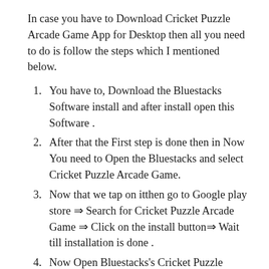In case you have to Download Cricket Puzzle Arcade Game App for Desktop then all you need to do is follow the steps which I mentioned below.
You have to, Download the Bluestacks Software install and after install open this Software .
After that the First step is done then in Now You need to Open the Bluestacks and select Cricket Puzzle Arcade Game.
Now that we tap on itthen go to Google play store ⇒ Search for Cricket Puzzle Arcade Game ⇒ Click on the install button⇒ Wait till installation is done .
Now Open Bluestacks's Cricket Puzzle Arcade Gamemodified file.
Now Finally!! You can open the app by Bluestacks App will and Voila